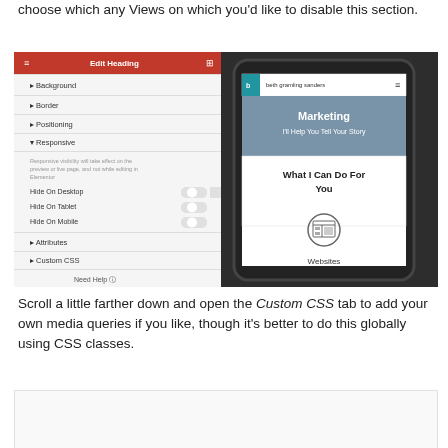choose which any views on which you'd like to disable this section.
[Figure (screenshot): Screenshot of a website editor (Elementor or similar) showing the 'Edit Heading' panel on the left with options: Background, Border, Positioning, Responsive (with Hide On Desktop, Hide On Tablet, Hide On Mobile toggles), Attributes, Custom CSS, and Need Help. On the right, a mobile phone mockup showing a website for 'beth gramling sanders' with sections for Marketing, 'I'll Help You Tell Your Story', 'What I Can Do For You', and 'Websites' with a website icon.]
Scroll a little farther down and open the Custom CSS tab to add your own media queries if you like, though it's better to do this globally using CSS classes.
[Figure (screenshot): Partial screenshot, content not fully visible (bottom of page).]